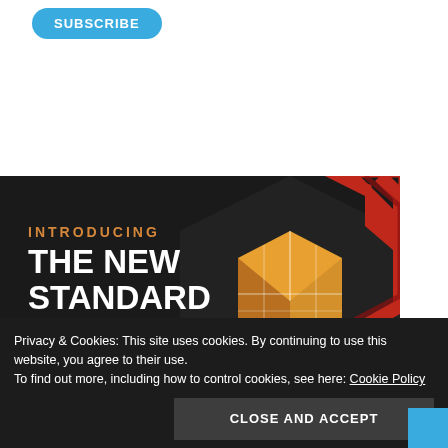[Figure (other): Blue rounded SUBSCRIBE button at top left]
[Figure (illustration): Dark banner with text 'INTRODUCING THE NEW STANDARD FOR VDC' and a 3D hexagon/cube graphic with red chevrons on the right side]
Privacy & Cookies: This site uses cookies. By continuing to use this website, you agree to their use.
To find out more, including how to control cookies, see here: Cookie Policy
CLOSE AND ACCEPT